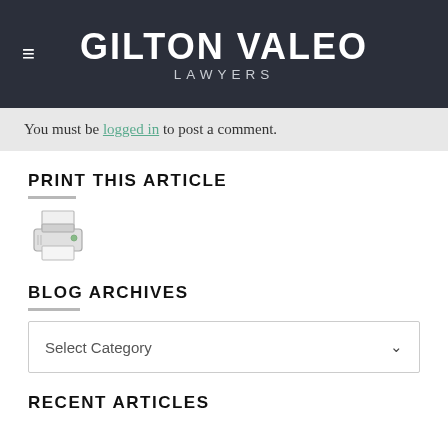GILTON VALEO LAWYERS
You must be logged in to post a comment.
PRINT THIS ARTICLE
[Figure (illustration): Printer icon/image used as a link to print the article]
BLOG ARCHIVES
Select Category
RECENT ARTICLES